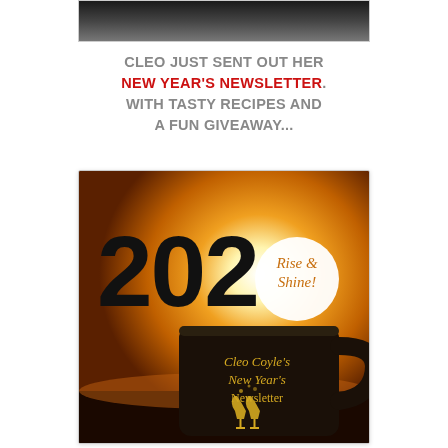[Figure (photo): Top portion of a black and white photo, partially visible at top of page]
CLEO JUST SENT OUT HER NEW YEAR'S NEWSLETTER. WITH TASTY RECIPES AND A FUN GIVEAWAY...
[Figure (photo): Newsletter promotional image showing '2020 Rise & Shine!' text over a warm orange sunrise background with a dark coffee mug labeled 'Cleo Coyle's New Year's Newsletter' with champagne glasses illustration]